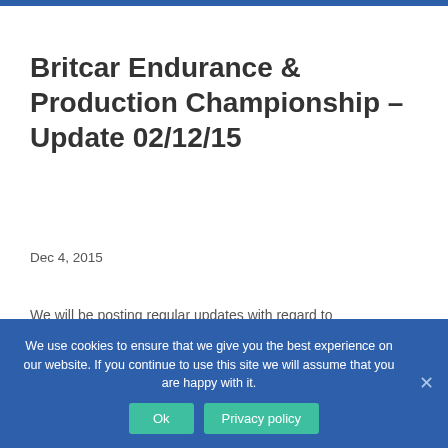Britcar Endurance & Production Championship – Update 02/12/15
Dec 4, 2015
We will be posting regular updates with regard to developments within the Championships for all to see.
Enquires are still coming in daily and the team are over the moon with the response since launch day – 20th November 2015.
We plan posting an update for those who have asked for more details and wanting to be involved with next
We use cookies to ensure that we give you the best experience on our website. If you continue to use this site we will assume that you are happy with it.